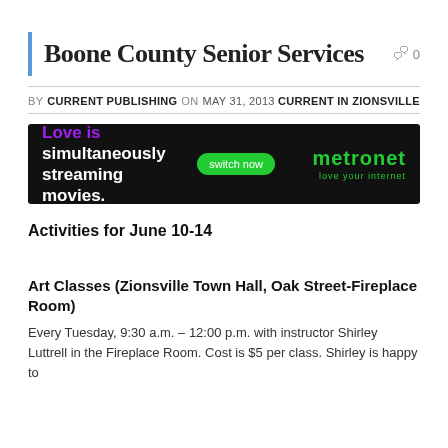Boone County Senior Services
0
BY CURRENT PUBLISHING ON MAY 31, 2013   CURRENT IN ZIONSVILLE
[Figure (other): Metronet advertisement with black background: 'Love is simultaneously streaming movies.' with a green 'switch now' button and the metronet logo in green.]
Activities for June 10-14
Art Classes (Zionsville Town Hall, Oak Street-Fireplace Room)
Every Tuesday, 9:30 a.m. – 12:00 p.m. with instructor Shirley Luttrell in the Fireplace Room.  Cost is $5 per class.  Shirley is happy to